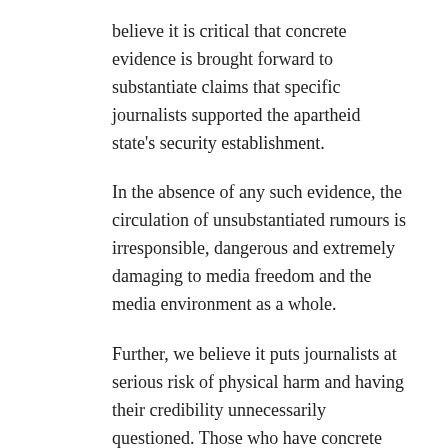believe it is critical that concrete evidence is brought forward to substantiate claims that specific journalists supported the apartheid state's security establishment.
In the absence of any such evidence, the circulation of unsubstantiated rumours is irresponsible, dangerous and extremely damaging to media freedom and the media environment as a whole.
Further, we believe it puts journalists at serious risk of physical harm and having their credibility unnecessarily questioned. Those who have concrete evidence of any such wrongdoing by journalists working in South Africa at the height of apartheid should come forward. That would help South Africa get to the bottom of this.
We would like to call for cool heads, so that we can have a sober debate about ways to cherish Mama